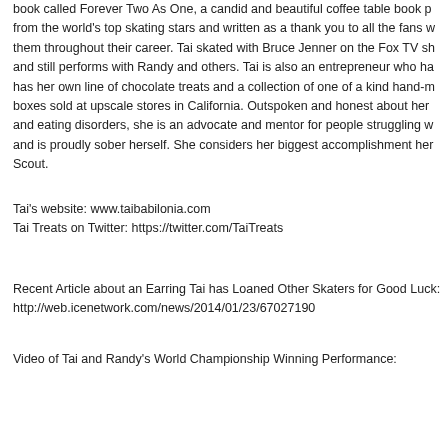book called Forever Two As One, a candid and beautiful coffee table book p… from the world's top skating stars and written as a thank you to all the fans w… them throughout their career. Tai skated with Bruce Jenner on the Fox TV sh… and still performs with Randy and others. Tai is also an entrepreneur who ha… has her own line of chocolate treats and a collection of one of a kind hand-m… boxes sold at upscale stores in California. Outspoken and honest about her … and eating disorders, she is an advocate and mentor for people struggling w… and is proudly sober herself. She considers her biggest accomplishment her… Scout.
Tai's website: www.taibabilonia.com
Tai Treats on Twitter: https://twitter.com/TaiTreats
Recent Article about an Earring Tai has Loaned Other Skaters for Good Luck: http://web.icenetwork.com/news/2014/01/23/67027190
Video of Tai and Randy's World Championship Winning Performance: